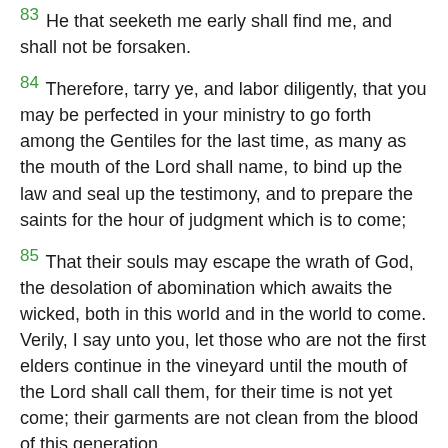83 He that seeketh me early shall find me, and shall not be forsaken.
84 Therefore, tarry ye, and labor diligently, that you may be perfected in your ministry to go forth among the Gentiles for the last time, as many as the mouth of the Lord shall name, to bind up the law and seal up the testimony, and to prepare the saints for the hour of judgment which is to come;
85 That their souls may escape the wrath of God, the desolation of abomination which awaits the wicked, both in this world and in the world to come. Verily, I say unto you, let those who are not the first elders continue in the vineyard until the mouth of the Lord shall call them, for their time is not yet come; their garments are not clean from the blood of this generation.
86 Abide ye in the liberty wherewith ye are made free;